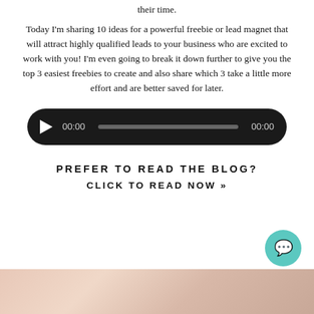their time.
Today I'm sharing 10 ideas for a powerful freebie or lead magnet that will attract highly qualified leads to your business who are excited to work with you! I'm even going to break it down further to give you the top 3 easiest freebies to create and also share which 3 take a little more effort and are better saved for later.
[Figure (other): Audio player with play button, 00:00 time display, progress bar, and 00:00 duration on dark rounded background]
PREFER TO READ THE BLOG?
CLICK TO READ NOW »